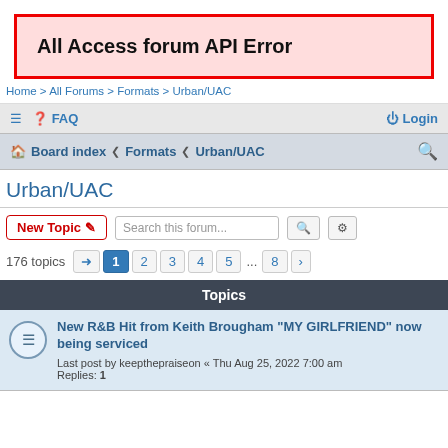All Access forum API Error
Home > All Forums > Formats > Urban/UAC
≡  ❓ FAQ   ⏻ Login
🏠 Board index  ‹  Formats  ‹  Urban/UAC  🔍
Urban/UAC
New Topic ✏   Search this forum...  🔍  ⚙
176 topics  ➡  1  2  3  4  5  ...  8  ›
Topics
New R&B Hit from Keith Brougham "MY GIRLFRIEND" now being serviced
Last post by keepthepraiseon « Thu Aug 25, 2022 7:00 am
Replies: 1